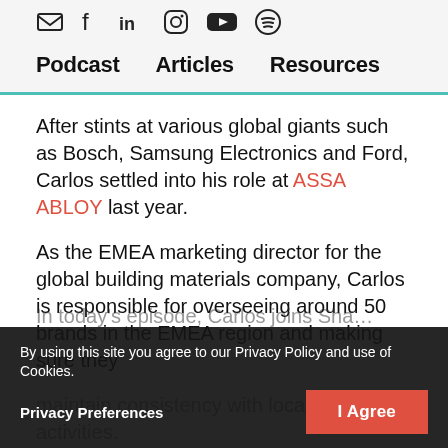[social media icons: email, facebook, linkedin, instagram, youtube, spotify]
Podcast    Articles    Resources
After stints at various global giants such as Bosch, Samsung Electronics and Ford, Carlos settled into his role at ASSA ABLOY last year.
As the EMEA marketing director for the global building materials company, Carlos is responsible for overseeing around 50 brands in the EMEA region and making sure they maintain consistency with local market activities.
In today's episode, Carlos joins Sha…
By using this site you agree to our Privacy Policy and use of Cookies.
Privacy Preferences    I Agree